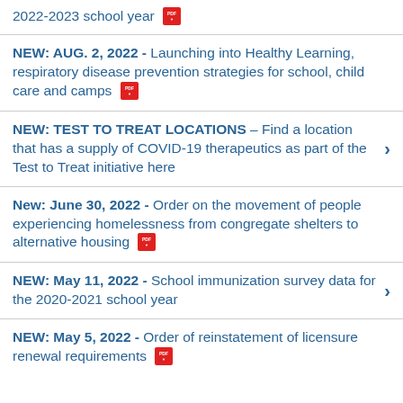2022-2023 school year [PDF]
NEW: AUG. 2, 2022 - Launching into Healthy Learning, respiratory disease prevention strategies for school, child care and camps [PDF]
NEW: TEST TO TREAT LOCATIONS – Find a location that has a supply of COVID-19 therapeutics as part of the Test to Treat initiative here
New: June 30, 2022 - Order on the movement of people experiencing homelessness from congregate shelters to alternative housing [PDF]
NEW: May 11, 2022 - School immunization survey data for the 2020-2021 school year
NEW: May 5, 2022 - Order of reinstatement of licensure renewal requirements [PDF]